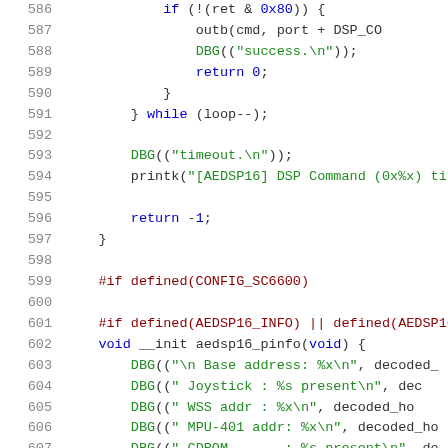Source code listing lines 586-607, C programming language kernel code for AEDSP16 audio driver